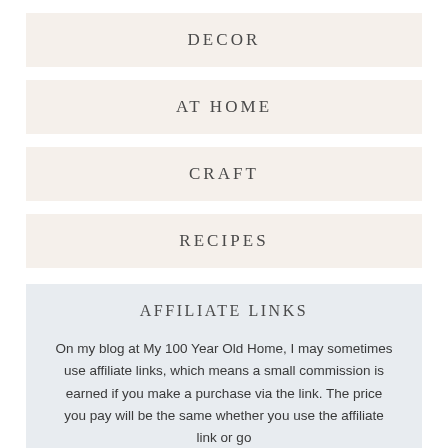DECOR
AT HOME
CRAFT
RECIPES
AFFILIATE LINKS
On my blog at My 100 Year Old Home, I may sometimes use affiliate links, which means a small commission is earned if you make a purchase via the link. The price you pay will be the same whether you use the affiliate link or go